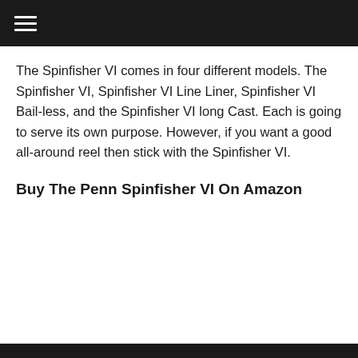☰
The Spinfisher VI comes in four different models. The Spinfisher VI, Spinfisher VI Line Liner, Spinfisher VI Bail-less, and the Spinfisher VI long Cast. Each is going to serve its own purpose. However, if you want a good all-around reel then stick with the Spinfisher VI.
Buy The Penn Spinfisher VI On Amazon